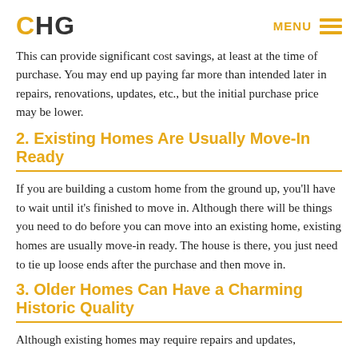CHG | MENU
This can provide significant cost savings, at least at the time of purchase. You may end up paying far more than intended later in repairs, renovations, updates, etc., but the initial purchase price may be lower.
2. Existing Homes Are Usually Move-In Ready
If you are building a custom home from the ground up, you'll have to wait until it's finished to move in. Although there will be things you need to do before you can move into an existing home, existing homes are usually move-in ready. The house is there, you just need to tie up loose ends after the purchase and then move in.
3. Older Homes Can Have a Charming Historic Quality
Although existing homes may require repairs and updates,